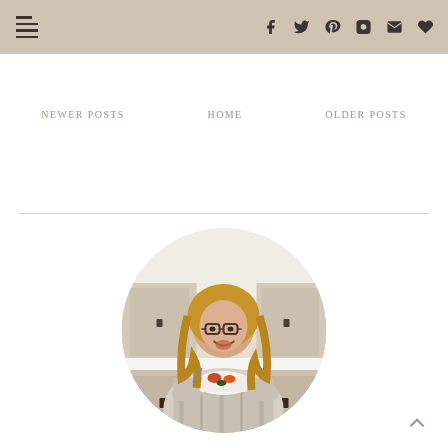Navigation header with menu icon and social icons (Facebook, Twitter, Pinterest, Instagram, Email, Heart/Favorites)
NEWER POSTS
HOME
OLDER POSTS
[Figure (photo): Circular profile photo of a smiling woman with long wavy hair and glasses, wearing a plaid flannel shirt, holding a white bowl of food, standing in a kitchen with light wood cabinetry]